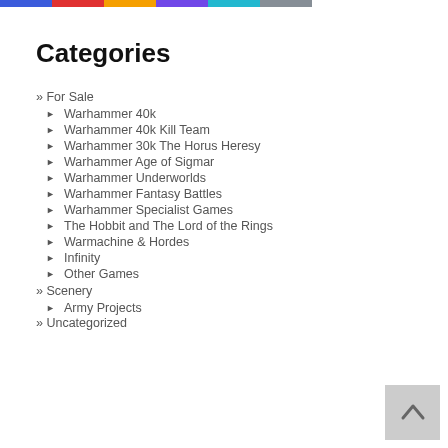[Figure (other): Colored navigation bar with six colored rectangles: blue, red/pink, orange/yellow, purple, cyan/light blue, brown/tan]
Categories
» For Sale
► Warhammer 40k
► Warhammer 40k Kill Team
► Warhammer 30k The Horus Heresy
► Warhammer Age of Sigmar
► Warhammer Underworlds
► Warhammer Fantasy Battles
► Warhammer Specialist Games
► The Hobbit and The Lord of the Rings
► Warmachine & Hordes
► Infinity
► Other Games
» Scenery
► Army Projects
» Uncategorized